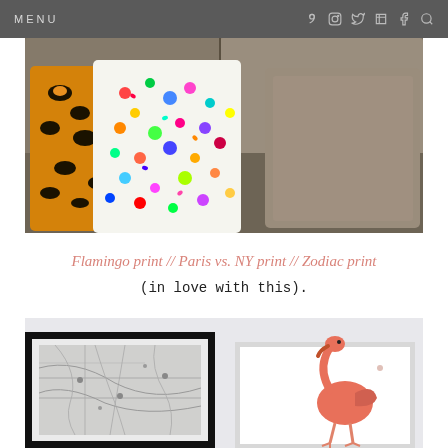MENU
[Figure (photo): Photo of decorative pillows on a grey sofa: a leopard print pillow on the left, a colorful splatter-paint pillow in the center, and grey sofa cushions on the right]
Flamingo print // Paris vs. NY print // Zodiac print (in love with this).
[Figure (photo): Two framed art prints on a light grey wall: on the left a black-framed city map print, on the right a white-framed flamingo illustration]